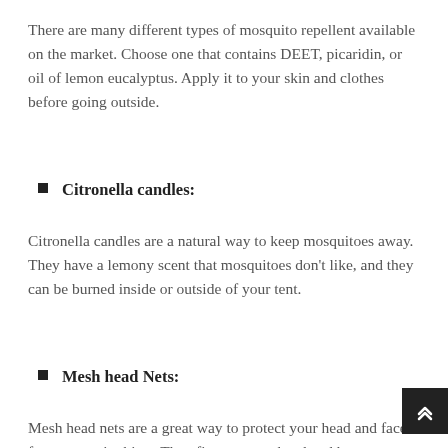There are many different types of mosquito repellent available on the market. Choose one that contains DEET, picaridin, or oil of lemon eucalyptus. Apply it to your skin and clothes before going outside.
Citronella candles:
Citronella candles are a natural way to keep mosquitoes away. They have a lemony scent that mosquitoes don't like, and they can be burned inside or outside of your tent.
Mesh head Nets:
Mesh head nets are a great way to protect your head and face from mosquito bites. They fit over your head and have mesh screens on all the openings to keep mosquitoes out.